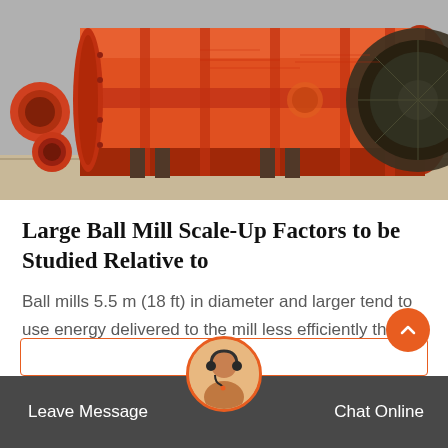[Figure (photo): Large orange industrial ball mill equipment lying horizontally on a warehouse floor, showing the cylindrical drum, inlet/outlet ports, flanges, and drive gear. The mill is painted bright orange-red.]
Large Ball Mill Scale-Up Factors to be Studied Relative to
Ball mills 5.5 m (18 ft) in diameter and larger tend to use energy delivered to the mill less efficiently than smaller diameter mills, particularly when the large mills carry 40% …
Leave Message
Chat Online